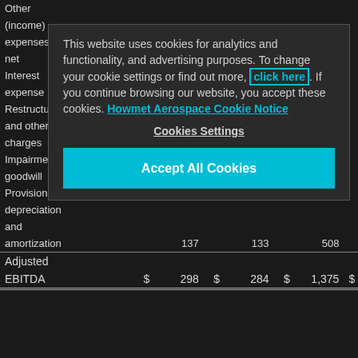|  |  |  |  |  |  |  |  |
| --- | --- | --- | --- | --- | --- | --- | --- |
| Other |  |  |  |  |  |  |  |
| (income) |  |  |  |  |  |  |  |
| expenses, |  |  |  |  |  |  |  |
| net |  | (8) | (5) |  |  | (28) |  |
| Interest |  |  |  |  |  |  |  |
| expense |  |  | 128 |  |  | 473 |  |
| Restructuring |  |  |  |  |  |  |  |
| and other |  |  |  |  |  |  |  |
| charges |  | 50 | 122 |  |  | 214 |  |
| Impairment |  |  |  |  |  |  |  |
| goodwill |  | 25 |  |  |  | 25 |  |
| Provision for |  |  |  |  |  |  |  |
| depreciation |  |  |  |  |  |  |  |
| and |  |  |  |  |  |  |  |
| amortization |  | 137 | 133 |  |  | 508 |  |
| Adjusted |  |  |  |  |  |  |  |
| EBITDA | $ | 298 | $ | 284 | $ | 1,375 | $ |
This website uses cookies for analytics and functionality, and advertising purposes. To change your cookie settings or find out more, click here. If you continue browsing our website, you accept these cookies. Howmet Aerospace Cookie Notice
Cookies Settings
Accept All Cookies